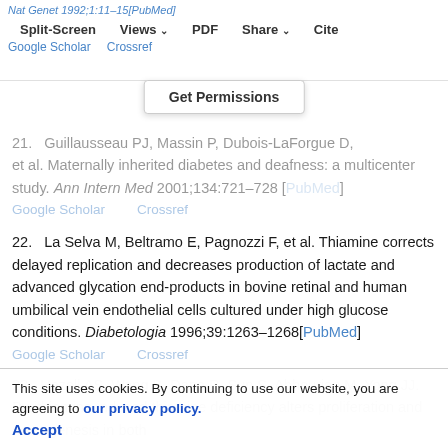Nat Genet 1992;1:11–15[PubMed] | Split-Screen | Views | PDF | Share | Cite | Google Scholar | Crossref
Get Permissions
21. Guillausseau PJ, Massin P, Dubois-LaForgue D, et al. Maternally inherited diabetes and deafness: a multicenter study. Ann Intern Med 2001;134:721–728 [PubMed] Google Scholar Crossref
22. La Selva M, Beltramo E, Pagnozzi F, et al. Thiamine corrects delayed replication and decreases production of lactate and advanced glycation end-products in bovine retinal and human umbilical vein endothelial cells cultured under high glucose conditions. Diabetologia 1996;39:1263–1268[PubMed] Google Scholar Crossref
23. Hazell AS, Wang B, Dano R, Sun S, Abhourian M, Yong JJ. Pyrithiamine-induced thiamine deficiency alters proliferation and neurogenesis in both
This site uses cookies. By continuing to use our website, you are agreeing to our privacy policy. Accept